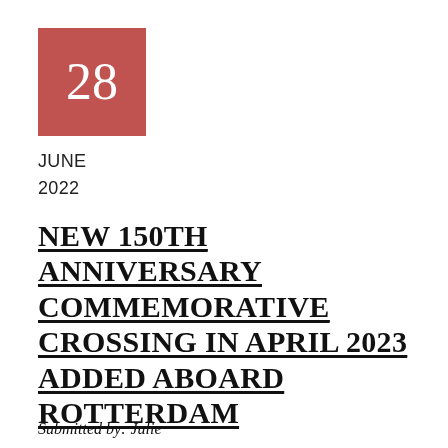[Figure (other): Red/rose colored square box containing the number 28 in white]
JUNE
2022
NEW 150TH ANNIVERSARY COMMEMORATIVE CROSSING IN APRIL 2023 ADDED ABOARD ROTTERDAM
Submitted by: Julie